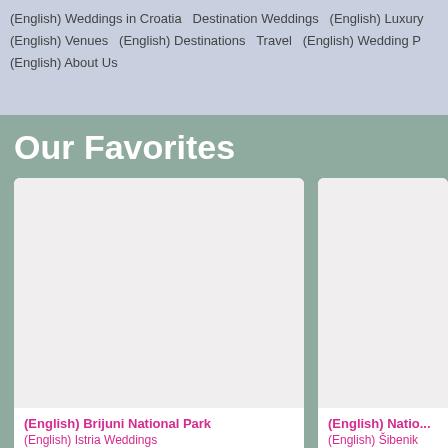(English) Weddings in Croatia  Destination Weddings  (English) Luxury  (English) Venues  (English) Destinations  Travel  (English) Wedding P  (English) About Us
Our Favorites
[Figure (other): White/light gray placeholder image for card 1 - Brijuni National Park]
(English) Brijuni National Park
(English) Istria Weddings
[Figure (other): White/light gray placeholder image for card 2 - partially visible card]
(English) Natio...
(English) Šibenik